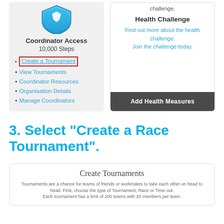[Figure (screenshot): Screenshot of a coordinator access card with shield icon, showing '10,000 Steps', and a menu with 'Create a Tournament' highlighted in a red border, plus other links: View Tournaments, Coordinator Resources, Organisation Details, Manage Coordinators]
[Figure (screenshot): Screenshot of a Health Challenge card with text 'Find out more about the health challenge. Join the challenge today.' and a dark 'Add Health Measures' button at the bottom]
3. Select "Create a Race Tournament".
[Figure (screenshot): Bottom of a Create Tournaments card with title 'Create Tournaments' and description text about tournaments being head to head competitions with a limit of 200 teams with 20 members per team]